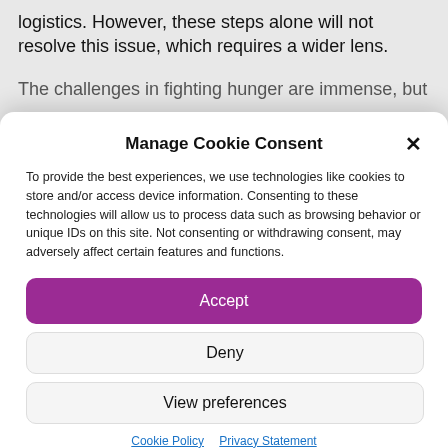logistics. However, these steps alone will not resolve this issue, which requires a wider lens.
The challenges in fighting hunger are immense, but
Manage Cookie Consent
To provide the best experiences, we use technologies like cookies to store and/or access device information. Consenting to these technologies will allow us to process data such as browsing behavior or unique IDs on this site. Not consenting or withdrawing consent, may adversely affect certain features and functions.
Accept
Deny
View preferences
Cookie Policy   Privacy Statement